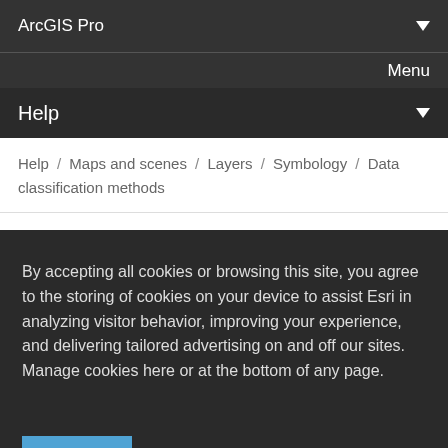ArcGIS Pro
Menu
Help
Help / Maps and scenes / Layers / Symbology / Data classification methods
such as percentages and temperature. This method emphasizes the amount of an attribute value relative to other values. For example, it shows that a shop is part of the group of shops that make up the top one-third followed
By accepting all cookies or browsing this site, you agree to the storing of cookies on your device to assist Esri in analyzing visitor behavior, improving your experience, and delivering tailored advertising on and off our sites. Manage cookies here or at the bottom of any page.